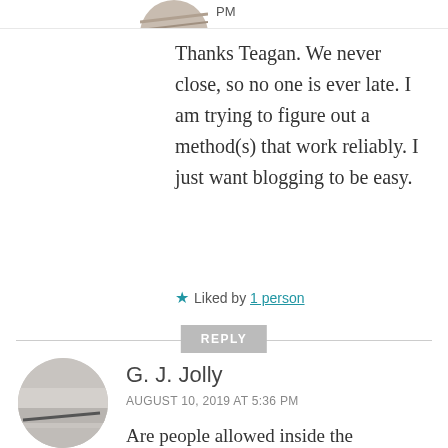[Figure (photo): Partial circular avatar showing top of a profile image, cropped at top of page]
PM
Thanks Teagan. We never close, so no one is ever late. I am trying to figure out a method(s) that work reliably. I just want blogging to be easy.
Liked by 1 person
REPLY
[Figure (photo): Circular avatar photo of G. J. Jolly showing a textured grey/white surface with a dark diagonal line]
G. J. Jolly
AUGUST 10, 2019 AT 5:36 PM
Are people allowed inside the